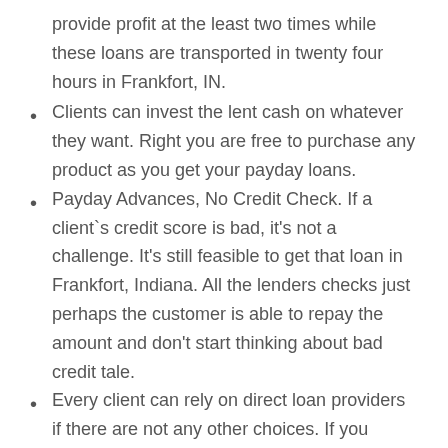provide profit at the least two times while these loans are transported in twenty four hours in Frankfort, IN.
Clients can invest the lent cash on whatever they want. Right you are free to purchase any product as you get your payday loans.
Payday Advances, No Credit Check. If a client`s credit score is bad, it's not a challenge. It's still feasible to get that loan in Frankfort, Indiana. All the lenders checks just perhaps the customer is able to repay the amount and don't start thinking about bad credit tale.
Every client can rely on direct loan providers if there are not any other choices. If you should be in an arduous situation and require cash, you can submit an application for payday advances in the place of asking your friends and relations for